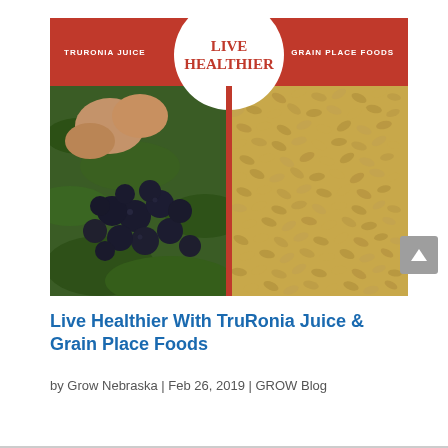[Figure (photo): Composite promotional image with red banner at top reading 'TRURONIA JUICE' on left and 'GRAIN PLACE FOODS' on right, with a white circle overlay in center showing 'LIVE HEALTHIER' in red text. Below the banner: left half shows a hand holding dark aronia/chokeberries on green leaves; right half shows a close-up of grain seeds. A red vertical stripe divides the two halves.]
Live Healthier With TruRonia Juice & Grain Place Foods
by Grow Nebraska | Feb 26, 2019 | GROW Blog